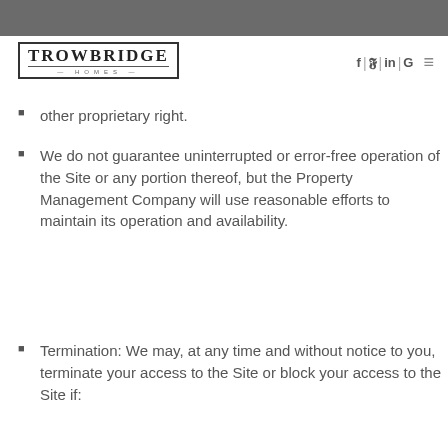[Figure (logo): Trowbridge Homes logo with bordered text and decorative lines]
f | y | in | G  ≡
other proprietary right.
We do not guarantee uninterrupted or error-free operation of the Site or any portion thereof, but the Property Management Company will use reasonable efforts to maintain its operation and availability.
Termination: We may, at any time and without notice to you, terminate your access to the Site or block your access to the Site if: